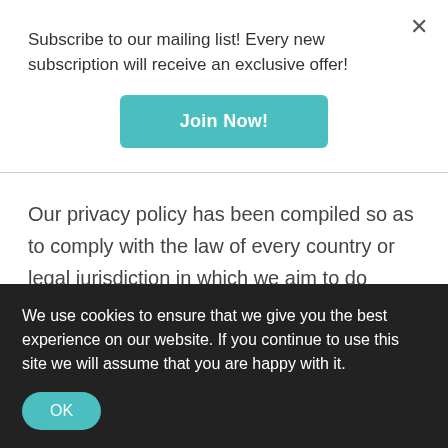Subscribe to our mailing list! Every new subscription will receive an exclusive offer!
Join Now!
Our privacy policy has been compiled so as to comply with the law of every country or legal jurisdiction in which we aim to do business. If you think it fails to satisfy the law of your jurisdiction, we should like to hear from you.
However ultimately it is your choice as to whether
We use cookies to ensure that we give you the best experience on our website. If you continue to use this site we will assume that you are happy with it.
OK